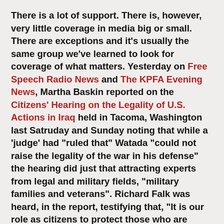There is a lot of support. There is, however, very little coverage in media big or small. There are exceptions and it's usually the same group we've learned to look for coverage of what matters. Yesterday on Free Speech Radio News and The KPFA Evening News, Martha Baskin reported on the Citizens' Hearing on the Legality of U.S. Actions in Iraq held in Tacoma, Washington last Satruday and Sunday noting that while a 'judge' had "ruled that" Watada "could not raise the legality of the war in his defense" the hearing did just that attracting experts from legal and military fields, "military families and veterans". Richard Falk was heard, in the report, testifying that, "It is our role as citizens to protect those who are brave enough . . . who refuse to participate in an illegal war."
Another issue in the court-martial of Ehren Watada is whether or not journalists should participate in the proceedings as witnesses for the prosecution. Emily Howard spoke with journalists Sarah Olson and Norman Solomon yesterday on KPFA's Flashpoints. Olson will